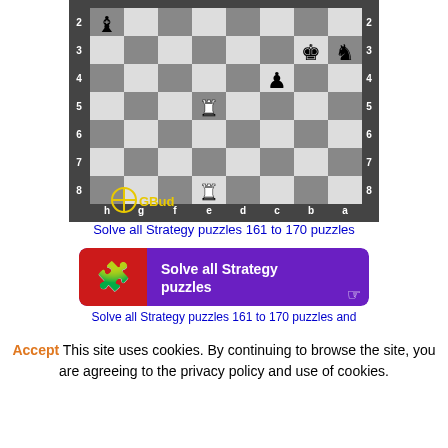[Figure (other): Chess puzzle board showing a position with black bishop on a2, black king on b3, black knight on a3, black pawn on c4, white rook on e5, white rook on e8. Board labeled with ranks 2-8 on sides and files h,g,f,e,d,c,b,a along bottom.]
Solve all Strategy puzzles 161 to 170 puzzles
[Figure (infographic): Purple banner with red left section containing puzzle piece icon, white bold text 'Solve all Strategy puzzles' and cursor icon on right]
Solve all Strategy puzzles 161 to 170 puzzles and
Accept This site uses cookies. By continuing to browse the site, you are agreeing to the privacy policy and use of cookies.